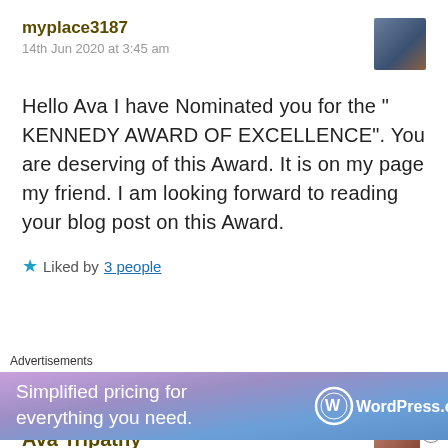myplace3187
14th Jun 2020 at 3:45 am
Hello Ava I have Nominated you for the " KENNEDY AWARD OF EXCELLENCE". You are deserving of this Award. It is on my page my friend. I am looking forward to reading your blog post on this Award.
★ Liked by 3 people
Reply
Ava Tripathy
Advertisements
Simplified pricing for everything you need. WordPress.com